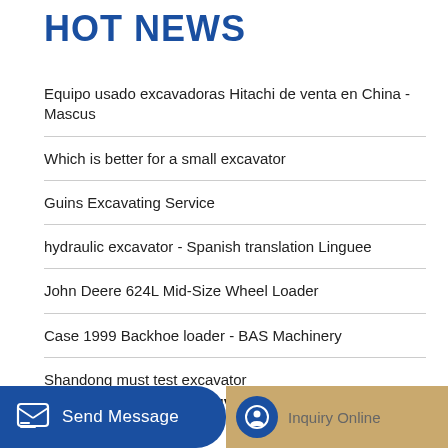HOT NEWS
Equipo usado excavadoras Hitachi de venta en China - Mascus
Which is better for a small excavator
Guins Excavating Service
hydraulic excavator - Spanish translation Linguee
John Deere 624L Mid-Size Wheel Loader
Case 1999 Backhoe loader - BAS Machinery
Shandong must test excavator
STUPID EXCAVATOR DRIVER - YouTube